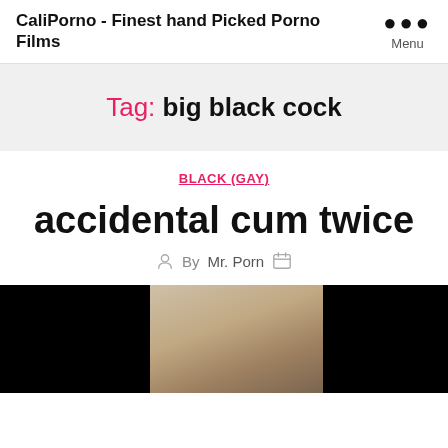CaliPorno - Finest hand Picked Porno Films
Tag: big black cock
BLACK (GAY)
accidental cum twice
By Mr. Porn
[Figure (photo): Video thumbnail showing a person, partially obscured by black bars on left and right sides]